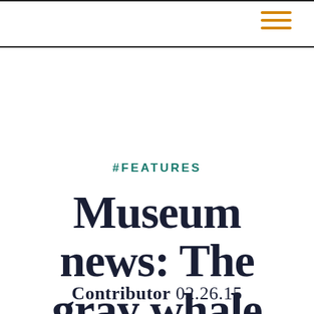#FEATURES
Museum news: The gray whale
Contributor 02.26.15